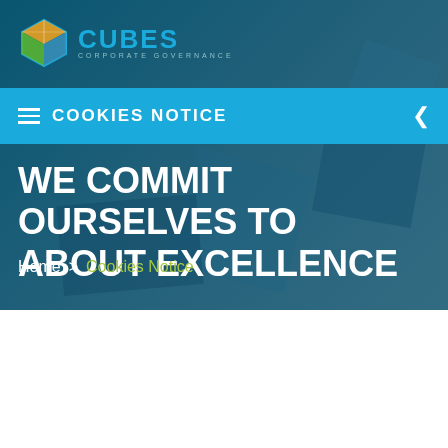[Figure (logo): CUBES Corporate Governance logo with cube icon in orange/green and blue text]
COOKIES NOTICE
WE COMMIT OURSELVES TO ABOUT EXCELLENCE
Home > Cookies Notice